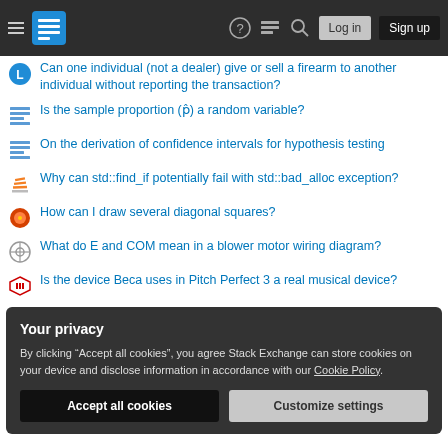Stack Exchange navigation bar with hamburger menu, logo, help, chat, search, Log in, Sign up
Can one individual (not a dealer) give or sell a firearm to another individual without reporting the transaction?
Is the sample proportion (p̂) a random variable?
On the derivation of confidence intervals for hypothesis testing
Why can std::find_if potentially fail with std::bad_alloc exception?
How can I draw several diagonal squares?
What do E and COM mean in a blower motor wiring diagram?
Is the device Beca uses in Pitch Perfect 3 a real musical device?
Is "create new" not pleonastic?
What do lawyers mean when they say somebody said something 'in
Your privacy
By clicking "Accept all cookies", you agree Stack Exchange can store cookies on your device and disclose information in accordance with our Cookie Policy.
Accept all cookies  Customize settings